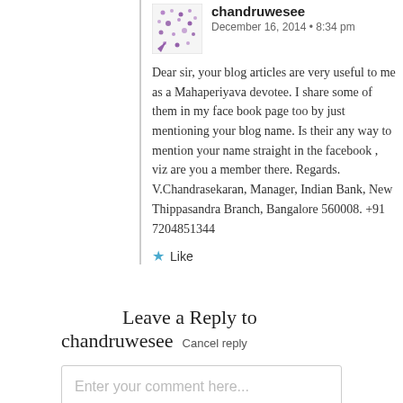chandruwesee
December 16, 2014 • 8:34 pm
Dear sir, your blog articles are very useful to me as a Mahaperiyava devotee. I share some of them in my face book page too by just mentioning your blog name. Is their any way to mention your name straight in the facebook , viz are you a member there. Regards. V.Chandrasekaran, Manager, Indian Bank, New Thippasandra Branch, Bangalore 560008. +91 7204851344
Like
Leave a Reply to chandruwesee
Cancel reply
Enter your comment here...